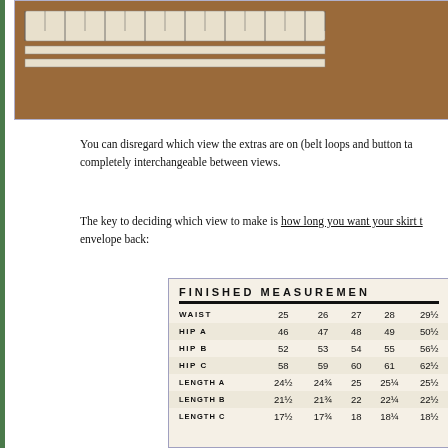[Figure (photo): Photo of a wooden surface with sewing pattern ruler/measuring tools visible at the top of the page]
You can disregard which view the extras are on (belt loops and button tabs are completely interchangeable between views.
The key to deciding which view to make is how long you want your skirt to be — check the envelope back:
|  | 25 | 26 | 27 | 28 | 29½ |
| --- | --- | --- | --- | --- | --- |
| WAIST | 25 | 26 | 27 | 28 | 29½ |
| HIP A | 46 | 47 | 48 | 49 | 50½ |
| HIP B | 52 | 53 | 54 | 55 | 56½ |
| HIP C | 58 | 59 | 60 | 61 | 62½ |
| LENGTH A | 24½ | 24¾ | 25 | 25¼ | 25½ |
| LENGTH B | 21½ | 21¾ | 22 | 22¼ | 22½ |
| LENGTH C | 17½ | 17¾ | 18 | 18¼ | 18½ |